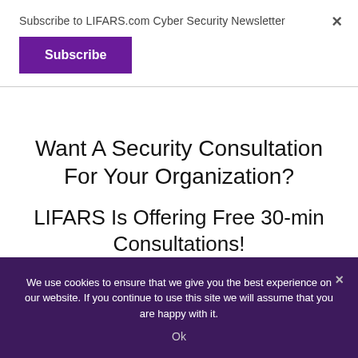Subscribe to LIFARS.com Cyber Security Newsletter
Subscribe
×
Want A Security Consultation For Your Organization?
LIFARS Is Offering Free 30-min Consultations!
Contact Us Today!
We use cookies to ensure that we give you the best experience on our website. If you continue to use this site we will assume that you are happy with it.
Ok